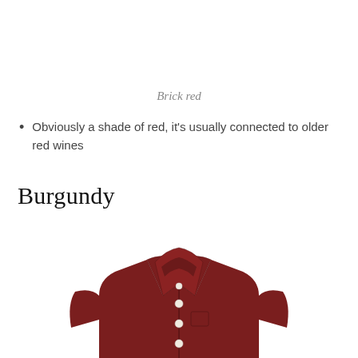Brick red
Obviously a shade of red, it's usually connected to older red wines
Burgundy
[Figure (photo): A burgundy/dark red men's button-up shirt with collar, shown from the front cropped at the shoulders/chest area, with white buttons visible down the placket.]